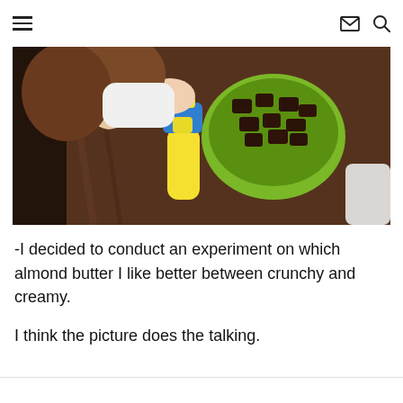≡  ✉ 🔍
[Figure (photo): Overhead view of a child reaching toward a green bowl filled with chocolate brownie pieces on a dark wooden table, with a blue and yellow squeeze bottle in hand.]
-I decided to conduct an experiment on which almond butter I like better between crunchy and creamy.

I think the picture does the talking.